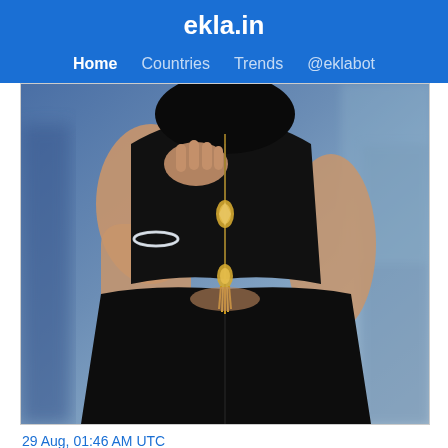ekla.in — Home | Countries | Trends | @eklabot
[Figure (photo): A person wearing a black dress with gold jewelry (necklace with tassel pendant) and silver bracelet, hands raised near face, blurred blue background.]
29 Aug, 01:46 AM UTC